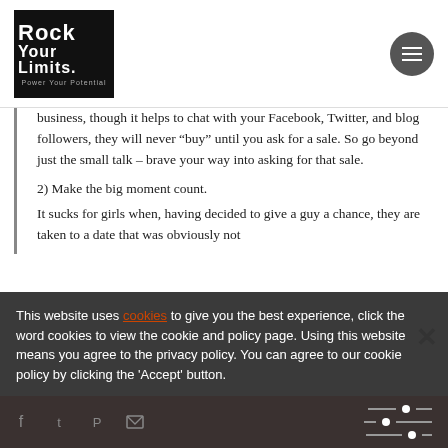Rock Your Limits - Power Your Potential
business, though it helps to chat with your Facebook, Twitter, and blog followers, they will never “buy” until you ask for a sale. So go beyond just the small talk – brave your way into asking for that sale.
2) Make the big moment count.
It sucks for girls when, having decided to give a guy a chance, they are taken to a date that was obviously not
This website uses cookies to give you the best experience, click the word cookies to view the cookie and policy page. Using this website means you agree to the privacy policy. You can agree to our cookie policy by clicking the 'Accept' button.